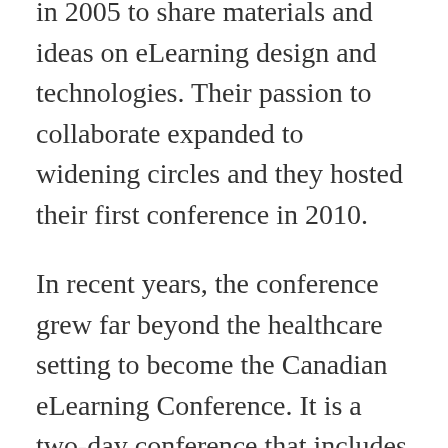in 2005 to share materials and ideas on eLearning design and technologies. Their passion to collaborate expanded to widening circles and they hosted their first conference in 2010.
In recent years, the conference grew far beyond the healthcare setting to become the Canadian eLearning Conference. It is a two-day conference that includes workshops, concurrent sessions, vendor displays, and opportunities for participants to showcase their work. The event averages around 130 attendees in a